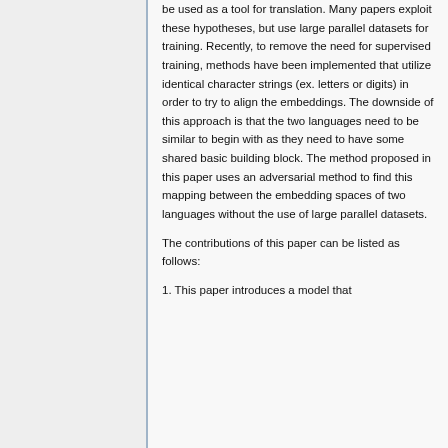be used as a tool for translation. Many papers exploit these hypotheses, but use large parallel datasets for training. Recently, to remove the need for supervised training, methods have been implemented that utilize identical character strings (ex. letters or digits) in order to try to align the embeddings. The downside of this approach is that the two languages need to be similar to begin with as they need to have some shared basic building block. The method proposed in this paper uses an adversarial method to find this mapping between the embedding spaces of two languages without the use of large parallel datasets.
The contributions of this paper can be listed as follows:
1. This paper introduces a model that